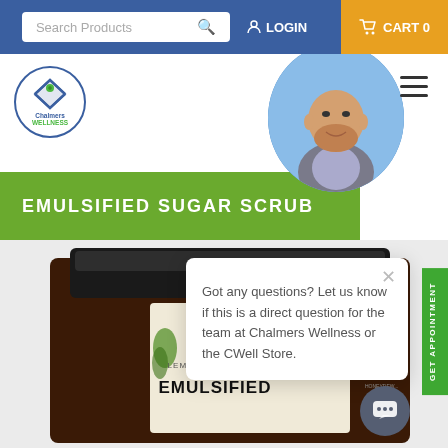Search Products | LOGIN | CART 0
[Figure (logo): Chalmers Wellness logo — circular logo with arrow and leaf motif, blue and green]
[Figure (photo): Person (bald man with beard, wearing vest) in a blue circular frame on the right side of the header]
EMULSIFIED SUGAR SCRUB
[Figure (photo): Product jar of Simple Body Lemongrass + Sage Emulsified Sugar Scrub in dark amber jar with black lid, shown from above at an angle]
Got any questions? Let us know if this is a direct question for the team at Chalmers Wellness or the CWell Store.